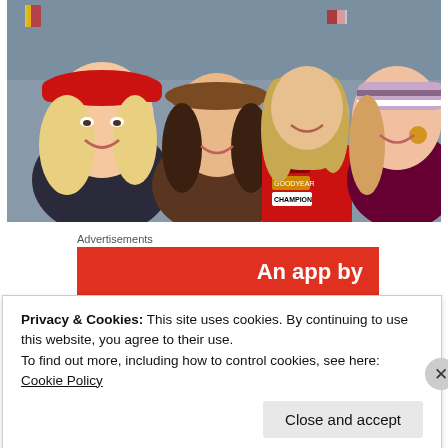[Figure (photo): Movie still showing a man in a red Formula 1 racing suit with sponsor logos (TEXACO, Goodyear, Champion, Marlboro) posing with three women, in front of a crowd at a racing event. The man has long blonde hair and the women are dressed in 1970s style clothing.]
Advertisements
[Figure (other): Red advertisement banner with white bold text reading 'An app by']
Privacy & Cookies: This site uses cookies. By continuing to use this website, you agree to their use.
To find out more, including how to control cookies, see here: Cookie Policy
Close and accept